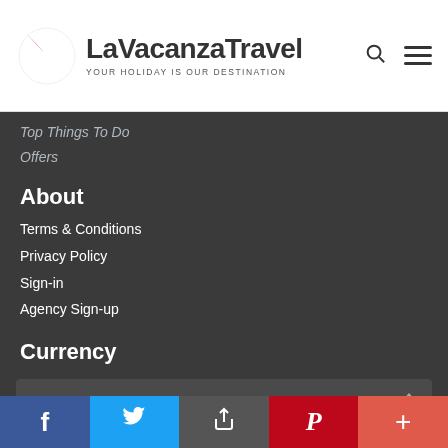[Figure (logo): LaVacanza Travel logo with colorful pinwheel icon and text 'LaVacanza Travel — YOUR HOLIDAY IS OUR DESTINATION']
Top Things To Do
Offers
About
Terms & Conditions
Privacy Policy
Sign-in
Agency Sign-up
Currency
INR
Subscribe
Keep up to date with all that's going on at La Vacanza
[Figure (screenshot): Email input field with submit button]
[Figure (infographic): Social sharing bar with Facebook, Twitter, share, Pinterest, and plus buttons]